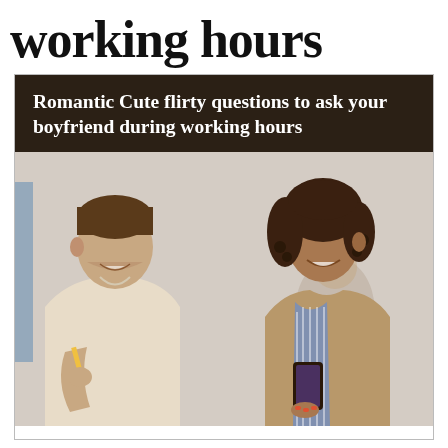working hours
[Figure (photo): A man in a light beige shirt holding a pencil and a woman with curly hair wearing a striped top and blazer, smiling and talking to each other in a workplace setting, with other people blurred in the background. Overlaid text reads: 'Romantic Cute flirty questions to ask your boyfriend during working hours']